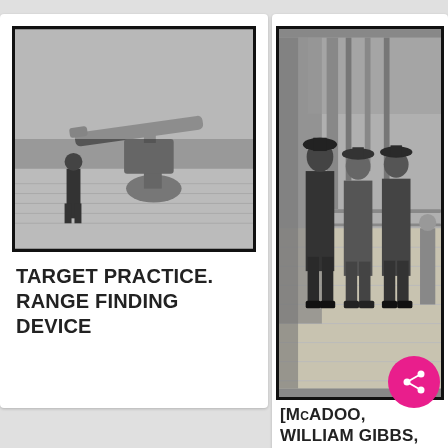[Figure (photo): Black and white photograph of a naval target practice range finding device mounted on a ship deck, with a person standing next to it.]
TARGET PRACTICE. RANGE FINDING DEVICE
[Figure (photo): Black and white photograph of three men in suits and hats standing on a ship deck. Identified as McAdoo, William Gibbs, Houston, David Franklin, Secretary of Agriculture.]
[McADOO, WILLIAM GIBBS, HOUSTON, DAVID FRANKLIN, SECRETARY OF AGRICULT...